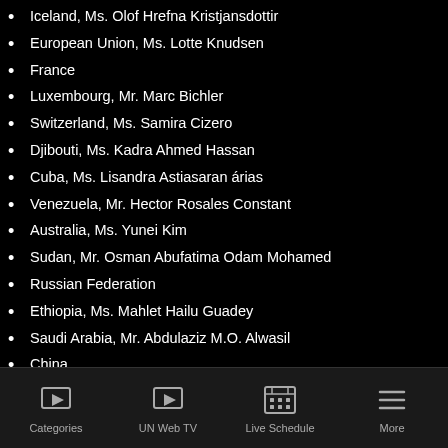Iceland, Ms. Olof Hrefna Kristjansdottir
European Union, Ms. Lotte Knudsen
France
Luxembourg, Mr. Marc Bichler
Switzerland, Ms. Samira Cizero
Djibouti, Ms. Kadra Ahmed Hassan
Cuba, Ms. Lisandra Astiasaran árias
Venezuela, Mr. Hector Rosales Constant
Australia, Ms. Yunei Kim
Sudan, Mr. Osman Abufatima Odam Mohamed
Russian Federation
Ethiopia, Ms. Mahlet Hailu Guadey
Saudi Arabia, Mr. Abdulaziz M.O. Alwasil
China
Democratic People's Republic of Korea, Mr. Pang Kwang Hyok
Belarus, Mr. Andrei Taranda
Sri Lanka, Mr. M. C. A. Chandraprema
Ireland, Ms. Róisín Dunbar
United Kingdom of Great Britain and Northern Ireland
Burundi, Mr. Jean Bosco Ndingiruyogo
Categories | UN Web TV | Live Schedule | More